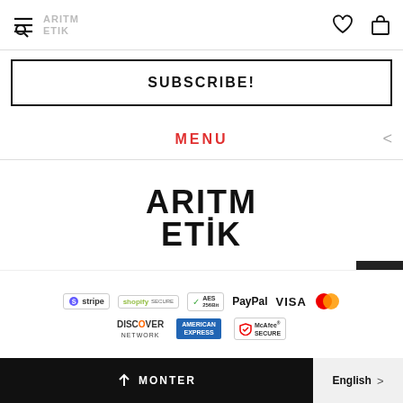ARITM ETIK
SUBSCRIBE!
MENU
[Figure (logo): ARIMETIK brand logo in large bold black text, two lines: ARITM / ETIK with dot on I]
[Figure (infographic): Social media icons: Facebook f and Instagram camera icons]
[Figure (infographic): Payment method badges: Stripe, Shopify Secure, AES 256Bit, PayPal, VISA, Mastercard, Discover Network, American Express, McAfee Secure]
MONTER  English >